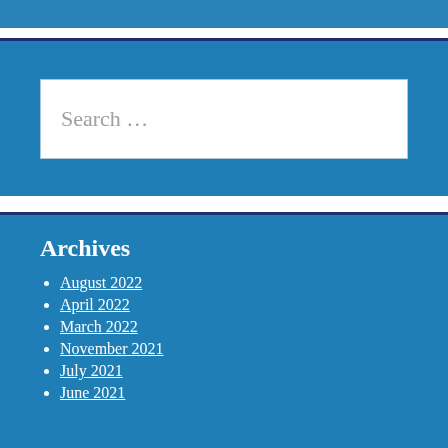Search …
Archives
August 2022
April 2022
March 2022
November 2021
July 2021
June 2021